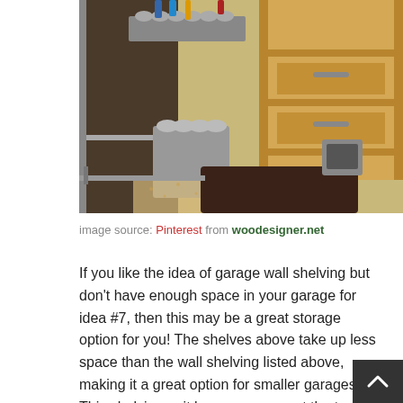[Figure (photo): A garage workshop with wooden shelving unit, PVC pipe holders mounted on the side for storing tools and caulk tubes, sawdust on the floor, a dark brown mat, and a small heater in the corner.]
image source: Pinterest from woodesigner.net
If you like the idea of garage wall shelving but don't have enough space in your garage for idea #7, then this may be a great storage option for you! The shelves above take up less space than the wall shelving listed above, making it a great option for smaller garages. This shelving unit leaves a space at the top for large equipment that can be a great place to store your backpack